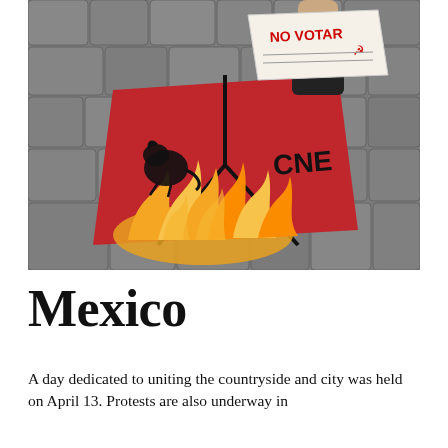[Figure (photo): A hand wearing a black glove holds a paper ballot stamped 'NO VOTAR' over a burning red box marked 'CNE' with a rat silhouette, on a cobblestone surface. Flames and fire engulf the box.]
Mexico
A day dedicated to uniting the countryside and city was held on April 13. Protests are also underway in